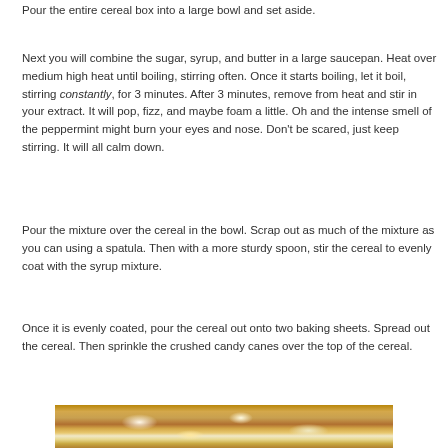Pour the entire cereal box into a large bowl and set aside.
Next you will combine the sugar, syrup, and butter in a large saucepan. Heat over medium high heat until boiling, stirring often. Once it starts boiling, let it boil, stirring constantly, for 3 minutes. After 3 minutes, remove from heat and stir in your extract. It will pop, fizz, and maybe foam a little. Oh and the intense smell of the peppermint might burn your eyes and nose. Don't be scared, just keep stirring. It will all calm down.
Pour the mixture over the cereal in the bowl. Scrap out as much of the mixture as you can using a spatula. Then with a more sturdy spoon, stir the cereal to evenly coat with the syrup mixture.
Once it is evenly coated, pour the cereal out onto two baking sheets. Spread out the cereal. Then sprinkle the crushed candy canes over the top of the cereal.
[Figure (photo): Photo of cereal coated with syrup mixture on a baking sheet, showing the caramelized/coated cereal mixture]